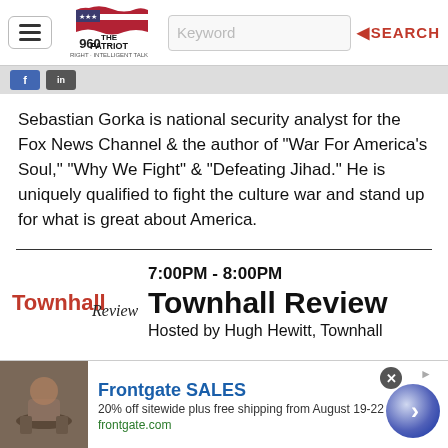960 The Patriot — navigation bar with hamburger menu, logo, keyword search
[Figure (screenshot): Social media sharing icons (Facebook and another)]
Sebastian Gorka is national security analyst for the Fox News Channel & the author of "War For America's Soul," "Why We Fight" & "Defeating Jihad." He is uniquely qualified to fight the culture war and stand up for what is great about America.
7:00PM - 8:00PM
[Figure (logo): Townhall Review logo — red 'Townhall' bold with 'Review' in italic serif]
Townhall Review
Hosted by Hugh Hewitt, Townhall
[Figure (screenshot): Frontgate SALES advertisement banner — 20% off sitewide plus free shipping from August 19-22, frontgate.com]